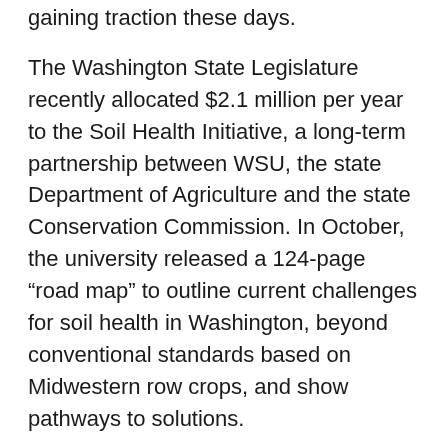gaining traction these days.
The Washington State Legislature recently allocated $2.1 million per year to the Soil Health Initiative, a long-term partnership between WSU, the state Department of Agriculture and the state Conservation Commission. In October, the university released a 124-page “road map” to outline current challenges for soil health in Washington, beyond conventional standards based on Midwestern row crops, and show pathways to solutions.
Specifically toward tree fruit, Robinson considers work by Tianna DuPont, a horticulture specialist at WSU’s Tree Fruit